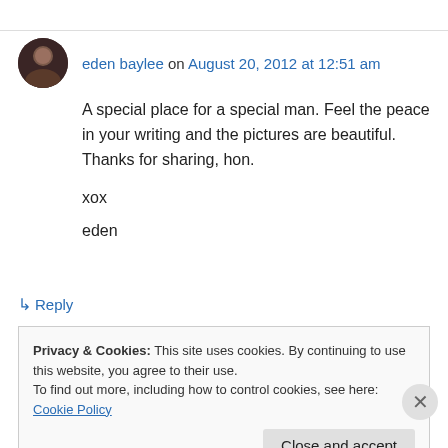eden baylee on August 20, 2012 at 12:51 am
A special place for a special man. Feel the peace in your writing and the pictures are beautiful. Thanks for sharing, hon.

xox
eden
↳ Reply
Privacy & Cookies: This site uses cookies. By continuing to use this website, you agree to their use.
To find out more, including how to control cookies, see here: Cookie Policy
Close and accept